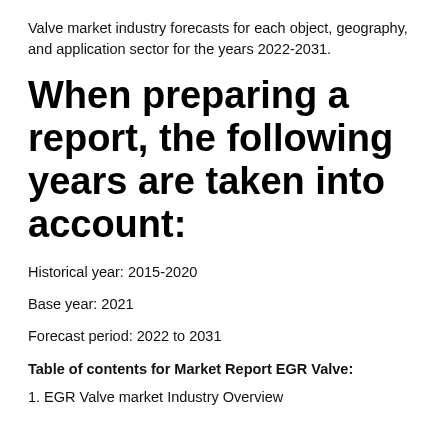Valve market industry forecasts for each object, geography, and application sector for the years 2022-2031.
When preparing a report, the following years are taken into account:
Historical year: 2015-2020
Base year: 2021
Forecast period: 2022 to 2031
Table of contents for Market Report EGR Valve:
1. EGR Valve market Industry Overview